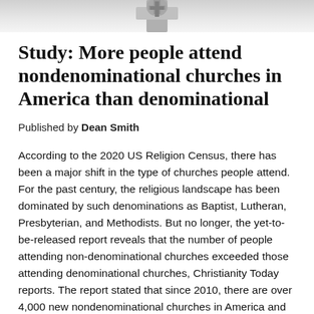[Figure (photo): Partial image of a church building or religious symbol, cropped at top of page, showing a metallic or stone architectural element against a light background.]
Study: More people attend nondenominational churches in America than denominational
Published by Dean Smith
According to the 2020 US Religion Census, there has been a major shift in the type of churches people attend. For the past century, the religious landscape has been dominated by such denominations as Baptist, Lutheran, Presbyterian, and Methodists. But no longer, the yet-to-be-released report reveals that the number of people attending non-denominational churches exceeded those attending denominational churches, Christianity Today reports. The report stated that since 2010, there are over 4,000 new nondenominational churches in America and along with that an additional 6.5 million Americans were now attending